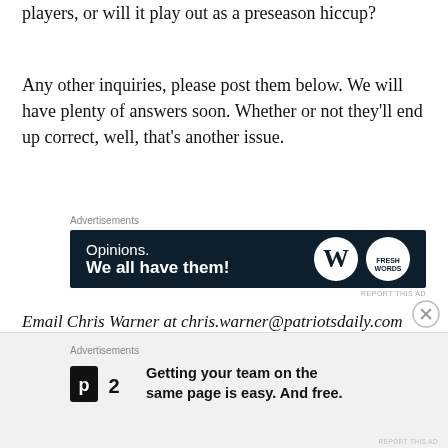players, or will it play out as a preseason hiccup?
Any other inquiries, please post them below. We will have plenty of answers soon. Whether or not they’ll end up correct, well, that’s another issue.
[Figure (other): Advertisement banner: dark navy background with text 'Opinions. We all have them!' and WordPress logo icons on the right.]
Email Chris Warner at chris.warner@patriotsdaily.com
[Figure (other): Bottom advertisement bar with P2 logo and text 'Getting your team on the same page is easy. And free.']